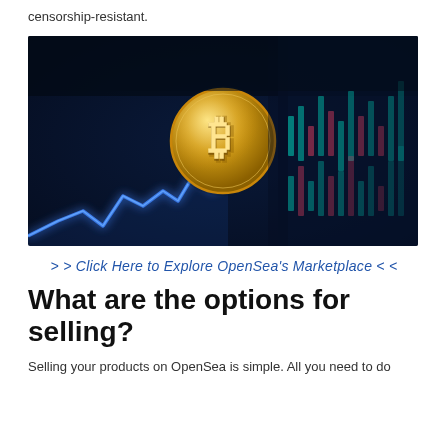censorship-resistant.
[Figure (photo): A gold Bitcoin coin floating in front of a dark blue background with a glowing blue stock market line chart on the left and blurred trading candlestick chart on the right.]
> > Click Here to Explore OpenSea's Marketplace < <
What are the options for selling?
Selling your products on OpenSea is simple. All you need to do